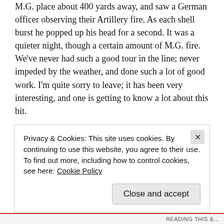M.G. place about 400 yards away, and saw a German officer observing their Artillery fire. As each shell burst he popped up his head for a second. It was a quieter night, though a certain amount of M.G. fire. We've never had such a good tour in the line; never impeded by the weather, and done such a lot of good work. I'm quite sorry to leave; it has been very interesting, and one is getting to know a lot about this bit.
2.00 p.m.—The Gen. (Griffiths) came in about 1.00 p.m. Passing through he told us to convey his appreciation to Menaul and his Scouts, for the good work they had done. We have been very lucky—two scraps this tour, and a good deal of shelling and M.G. fire, and no casualties, except young Dickson, who is still going
Privacy & Cookies: This site uses cookies. By continuing to use this website, you agree to their use.
To find out more, including how to control cookies, see here: Cookie Policy
Close and accept